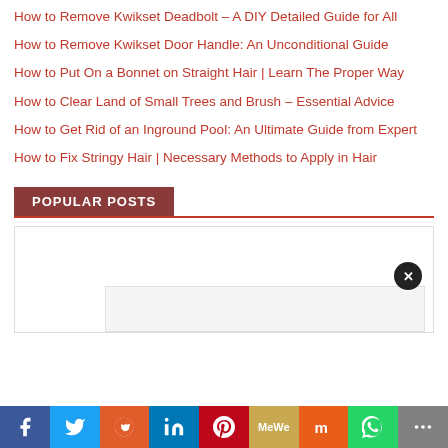How to Remove Kwikset Deadbolt – A DIY Detailed Guide for All
How to Remove Kwikset Door Handle: An Unconditional Guide
How to Put On a Bonnet on Straight Hair | Learn The Proper Way
How to Clear Land of Small Trees and Brush – Essential Advice
How to Get Rid of an Inground Pool: An Ultimate Guide from Expert
How to Fix Stringy Hair | Necessary Methods to Apply in Hair
POPULAR POSTS
[Figure (screenshot): Popular posts widget area with a partially visible post card and a close button]
[Figure (infographic): Social sharing bar with buttons: Facebook, Twitter, Reddit, LinkedIn, Pinterest, MeWe, Mix, WhatsApp, More]